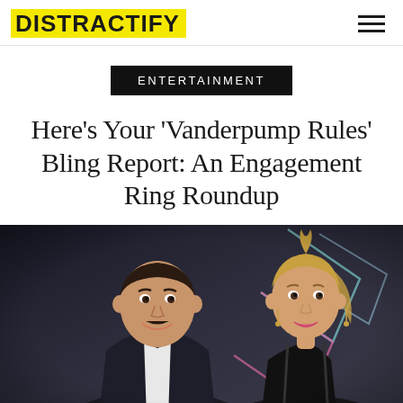DISTRACTIFY
ENTERTAINMENT
Here's Your 'Vanderpump Rules' Bling Report: An Engagement Ring Roundup
[Figure (photo): A man in a black tuxedo with bow tie and a woman in a black dress posing together at what appears to be a red carpet event with geometric diamond shapes in the background]